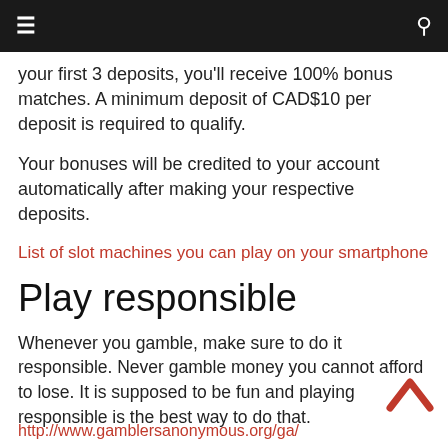☰  🔍
your first 3 deposits, you'll receive 100% bonus matches. A minimum deposit of CAD$10 per deposit is required to qualify.
Your bonuses will be credited to your account automatically after making your respective deposits.
List of slot machines you can play on your smartphone
Play responsible
Whenever you gamble, make sure to do it responsible. Never gamble money you cannot afford to lose. It is supposed to be fun and playing responsible is the best way to do that.
http://www.gamblersanonymous.org/ga/